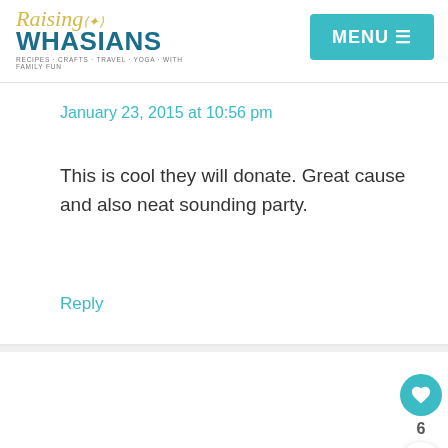Raising Whasians | MENU
January 23, 2015 at 10:56 pm
This is cool they will donate. Great cause and also neat sounding party.
Reply
Theresa says
January 23, 2015 at 11:51 pm
I love that Master Lock is doing this! I already sent out my tweet in support!